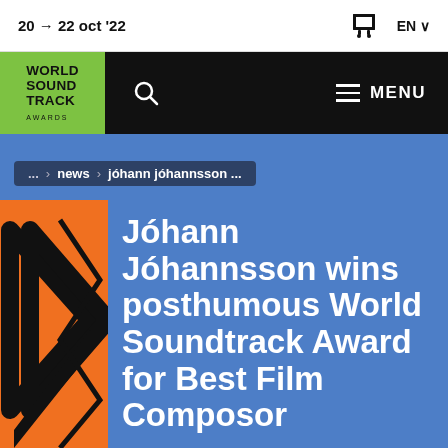20 → 22 oct '22
[Figure (logo): World Soundtrack Awards logo — green background with bold black text WORLD SOUND TRACK AWARDS]
MENU
... > news > jóhann jóhannsson ...
[Figure (illustration): Orange and black geometric arrow/chevron graphic on left side]
Jóhann Jóhannsson wins posthumous World Soundtrack Award for Best Film Composor